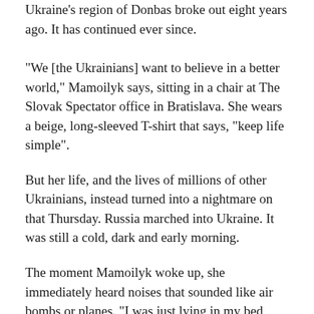Ukraine’s region of Donbas broke out eight years ago. It has continued ever since.
“We [the Ukrainians] want to believe in a better world,” Mamoilyk says, sitting in a chair at The Slovak Spectator office in Bratislava. She wears a beige, long-sleeved T-shirt that says, “keep life simple”.
But her life, and the lives of millions of other Ukrainians, instead turned into a nightmare on that Thursday. Russia marched into Ukraine. It was still a cold, dark and early morning.
The moment Mamoilyk woke up, she immediately heard noises that sounded like air bombs or planes. “I was just lying in my bed, listening to the sounds